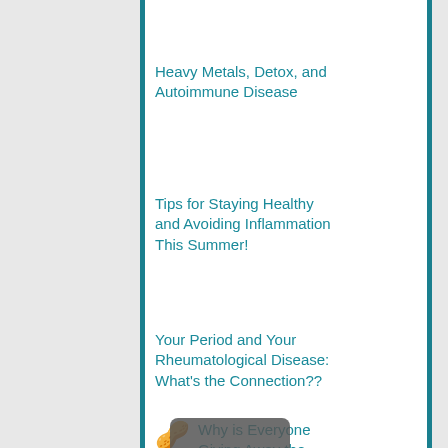Heavy Metals, Detox, and Autoimmune Disease
Tips for Staying Healthy and Avoiding Inflammation This Summer!
Your Period and Your Rheumatological Disease: What's the Connection??
Why is Everyone Giving Away the Gluten?